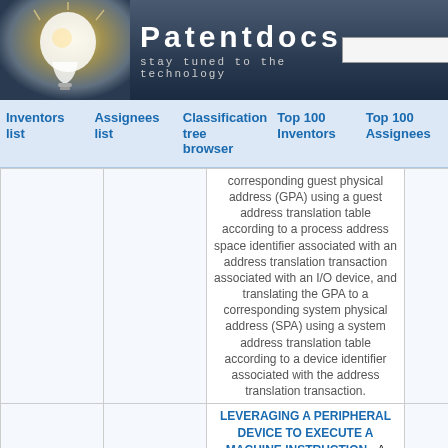[Figure (screenshot): Patentdocs website header with lightbulb logo, site title, subtitle 'stay tuned to the technology', and search box with Search button]
Inventors list | Assignees list | Classification tree browser | Top 100 Inventors | Top 100 Assignees
corresponding guest physical address (GPA) using a guest address translation table according to a process address space identifier associated with an address translation transaction associated with an I/O device, and translating the GPA to a corresponding system physical address (SPA) using a system address translation table according to a device identifier associated with the address translation transaction.
LEVERAGING A PERIPHERAL DEVICE TO EXECUTE A MACHINE INSTRUCTION - A method includes executing microcode in a processing unit of a processor to implement a machine instruction, wherein the microcode is to manipulate the processing unit to access a peripheral device on a public communication bus at a private address not visible to other devices on the public